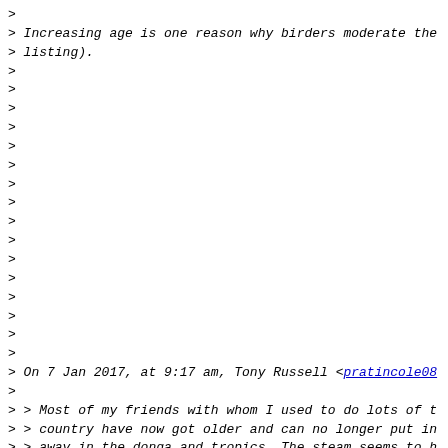> 
> Increasing age is one reason why birders moderate the
> listing).
>
>
>
>
>
>
>
>
>
>
>
>
>
>
>
>
> On 7 Jan 2017, at 9:17 am, Tony Russell <pratincole08
>
> > Most of my friends with whom I used to do lots of t
> > country have now got older and can no longer put in
> > away in the donga and tropics. The steam seems to h
> and
> > as for putting in reports all the time, well it's n
> When
> > a good vagrant blows in we may sometimes do a dash
> not
> > always, and by that time it's been reported anyway.
> get
> > to see it?  It's no longer any big deal.
> >
> > Much that for...